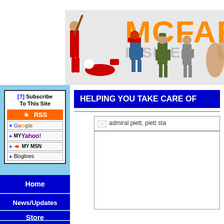[Figure (illustration): McFarlane Toys website header banner showing action figures/sports figures with the text MCFARLA (truncated) in large orange letters with action figures arranged below]
[?] Subscribe To This Site
[Figure (screenshot): RSS subscription button in orange]
[Figure (screenshot): Add to Google button]
[Figure (screenshot): Add to My Yahoo! button]
[Figure (screenshot): Add to My MSN button]
[Figure (screenshot): Add to Bloglines button]
Home
News/Updates
Store
Reviews
HELPING YOU TAKE CARE OF
[Figure (illustration): admiral piett, piett sta (truncated) - broken image placeholder with text]
[Figure (photo): Large white content area/image placeholder below the admiral piett image reference]